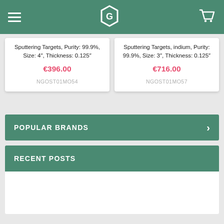Navigation bar with hamburger menu, G logo, and cart icon
Sputtering Targets, Purity: 99.9%, Size: 4", Thickness: 0.125"
€396.00
NGOST01MO54
Sputtering Targets, indium, Purity: 99.9%, Size: 3", Thickness: 0.125"
€716.00
NGOST01MO57
POPULAR BRANDS
RECENT POSTS